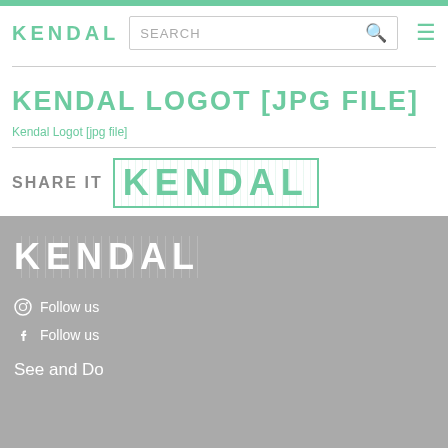KENDAL  SEARCH  ☰
KENDAL LOGOT [JPG FILE]
Kendal Logot [jpg file]
SHARE IT  KENDAL
[Figure (logo): KENDAL logo in white with striped/outlined style on gray background]
⊙ Follow us
f Follow us
See and Do